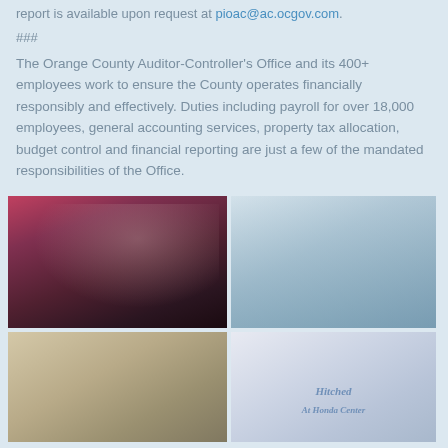report is available upon request at pioac@ac.ocgov.com.
###
The Orange County Auditor-Controller's Office and its 400+ employees work to ensure the County operates financially responsibly and effectively. Duties including payroll for over 18,000 employees, general accounting services, property tax allocation, budget control and financial reporting are just a few of the mandated responsibilities of the Office.
[Figure (photo): Person in suit posing with Anaheim Ducks mascot in front of floral background]
[Figure (photo): Office space with people gathered for an event]
[Figure (photo): Interior room with people seated at tables]
[Figure (photo): Sign reading 'Hitched At Honda Center']